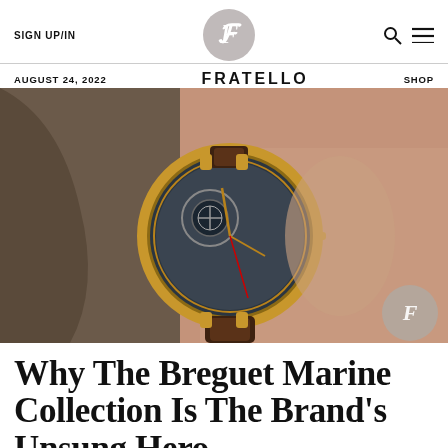SIGN UP/IN  FRATELLO  SHOP
AUGUST 24, 2022
[Figure (photo): Close-up photograph of a Breguet Marine watch with a skeletonized dial in rose gold case on a brown alligator strap, worn on a wrist, shot against a dark khaki background. A circular Fratello watermark logo appears in the bottom-right corner.]
Why The Breguet Marine Collection Is The Brand's Unsung Hero